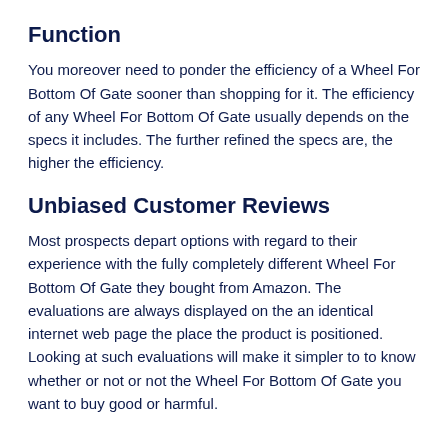Function
You moreover need to ponder the efficiency of a Wheel For Bottom Of Gate sooner than shopping for it. The efficiency of any Wheel For Bottom Of Gate usually depends on the specs it includes. The further refined the specs are, the higher the efficiency.
Unbiased Customer Reviews
Most prospects depart options with regard to their experience with the fully completely different Wheel For Bottom Of Gate they bought from Amazon. The evaluations are always displayed on the an identical internet web page the place the product is positioned. Looking at such evaluations will make it simpler to to know whether or not or not the Wheel For Bottom Of Gate you want to buy good or harmful.